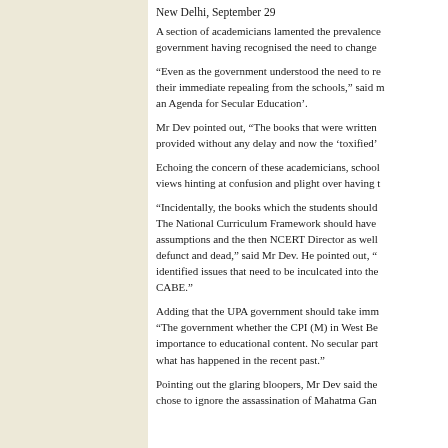New Delhi, September 29
A section of academicians lamented the prevalence of government having recognised the need to change
“Even as the government understood the need to re their immediate repealing from the schools,” said m an Agenda for Secular Education’.
Mr Dev pointed out, “The books that were written provided without any delay and now the ‘toxified’
Echoing the concern of these academicians, school views hinting at confusion and plight over having t
“Incidentally, the books which the students should The National Curriculum Framework should have assumptions and the then NCERT Director as well defunct and dead,” said Mr Dev. He pointed out, “ identified issues that need to be inculcated into the CABE.”
Adding that the UPA government should take imm “The government whether the CPI (M) in West Be importance to educational content. No secular part what has happened in the recent past.”
Pointing out the glaring bloopers, Mr Dev said the chose to ignore the assassination of Mahatma Gan